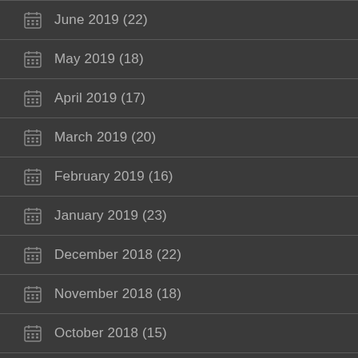June 2019 (22)
May 2019 (18)
April 2019 (17)
March 2019 (20)
February 2019 (16)
January 2019 (23)
December 2018 (22)
November 2018 (18)
October 2018 (15)